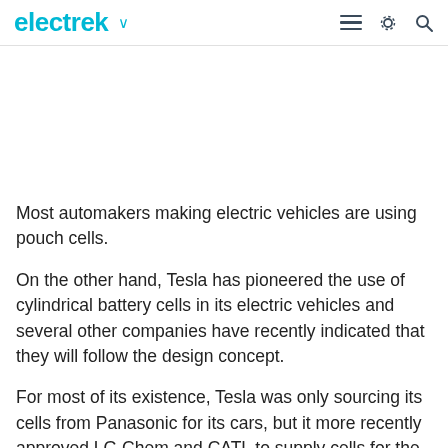electrek
Most automakers making electric vehicles are using pouch cells.
On the other hand, Tesla has pioneered the use of cylindrical battery cells in its electric vehicles and several other companies have recently indicated that they will follow the design concept.
For most of its existence, Tesla was only sourcing its cells from Panasonic for its cars, but it more recently approved LG Chem and CATL to supply cells for the Model 3 vehicles made in China.